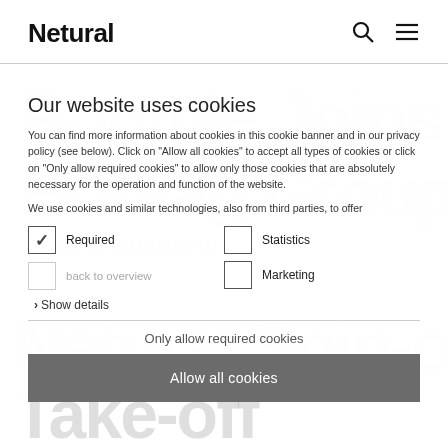Netural
Our website uses cookies
You can find more information about cookies in this cookie banner and in our privacy policy (see below). Click on "Allow all cookies" to accept all types of cookies or click on "Only allow required cookies" to allow only those cookies that are absolutely necessary for the operation and function of the website.
We use cookies and similar technologies, also from third parties, to offer
Required
Statistics
back to overview
Marketing
> Show details
Only allow required cookies
Allow all cookies